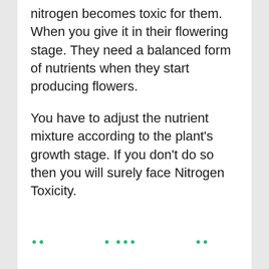nitrogen becomes toxic for them. When you give it in their flowering stage. They need a balanced form of nutrients when they start producing flowers.
You have to adjust the nutrient mixture according to the plant's growth stage. If you don't do so then you will surely face Nitrogen Toxicity.